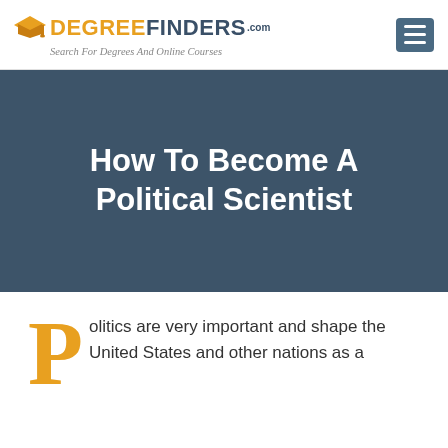DEGREE FINDERS.com — Search For Degrees And Online Courses
How To Become A Political Scientist
Politics are very important and shape the United States and other nations as a